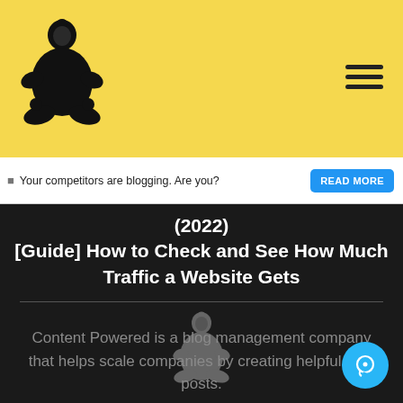[Figure (logo): Sumo wrestler logo in black on yellow background, top left of header]
[Figure (illustration): Hamburger menu icon (three horizontal lines) in top right of yellow header]
Your competitors are blogging. Are you?
READ MORE
(2022)
[Guide] How to Check and See How Much Traffic a Website Gets
[Figure (logo): Gray sumo wrestler logo centered in dark section]
Content Powered is a blog management company that helps scale companies by creating helpful blog posts.